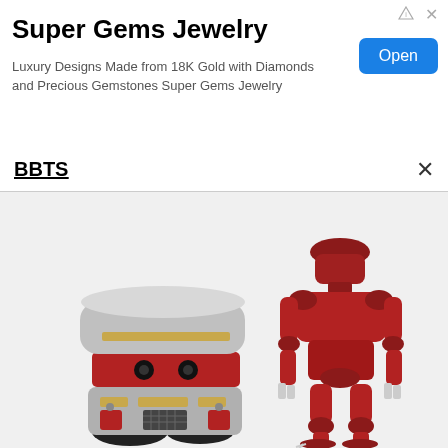[Figure (infographic): Advertisement banner for Super Gems Jewelry with logo text, description, and Open button]
Super Gems Jewelry
Luxury Designs Made from 18K Gold with Diamonds and Precious Gemstones Super Gems Jewelry
BBTS
[Figure (photo): Two robot toy figures on white/grey background. Left figure is a squat robot with silver and red body marked 'F.I.N.CENT. L.F. 396'. Right figure is a tall red humanoid robot with articulated legs.]